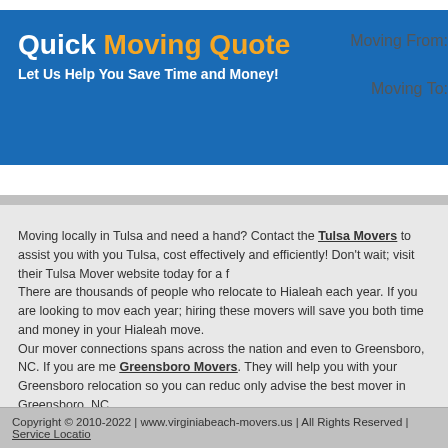Quick Moving Quote
Let Us Help You Save Time and Money!
Moving From:
Moving To:
Moving locally in Tulsa and need a hand? Contact the Tulsa Movers to assist you with your Tulsa, cost effectively and efficiently! Don't wait; visit their Tulsa Mover website today for a f
There are thousands of people who relocate to Hialeah each year. If you are looking to mov each year; hiring these movers will save you both time and money in your Hialeah move.
Our mover connections spans across the nation and even to Greensboro, NC. If you are me Greensboro Movers. They will help you with your Greensboro relocation so you can reduc only advise the best mover in Greensboro, NC.
Do you need help with your local move from or to Arlington? Why not use a Arlington movin takes the time to fully know your moving needs. They work hard to earn your confidence be with your Arlington move!
Copyright © 2010-2022 | www.virginiabeach-movers.us | All Rights Reserved | Service Locatio